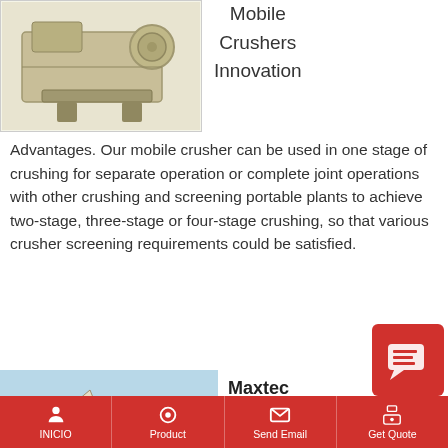[Figure (photo): Industrial mobile crusher machine, beige/gold colored, mechanical equipment]
Mobile
Crushers
Innovation
Advantages. Our mobile crusher can be used in one stage of crushing for separate operation or complete joint operations with other crushing and screening portable plants to achieve two-stage, three-stage or four-stage crushing, so that various crusher screening requirements could be satisfied.
Read More
Maxtec
MAX
[Figure (photo): Outdoor photo of Maxtec crushing/screening equipment on a field]
[Figure (other): Red chat/message overlay button with document icon]
INICIO | Product | Send Email | Get Quote